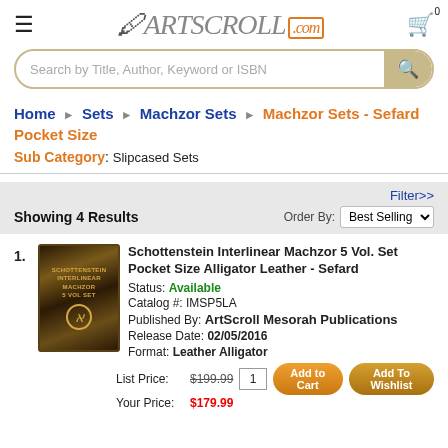ArtScroll.com
Search by Title, Author, Keyword or ISBN
Home › Sets › Machzor Sets › Machzor Sets - Sefard Pocket Size
Sub Category: Slipcased Sets
Showing 4 Results  Order By: Best Selling  Filter>>
1. Schottenstein Interlinear Machzor 5 Vol. Set Pocket Size Alligator Leather - Sefard
Status: Available
Catalog #: IMSP5LA
Published By: ArtScroll Mesorah Publications
Release Date: 02/05/2016
Format: Leather Alligator
List Price: $199.99  Your Price: $179.99